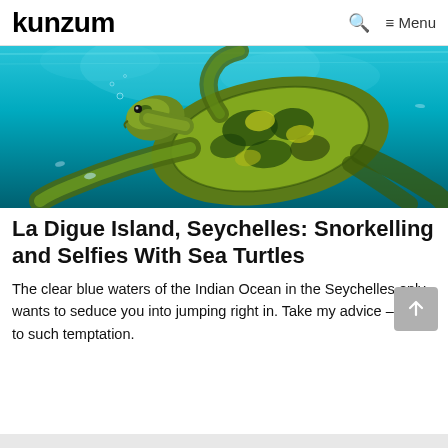kunzum  🔍  ≡ Menu
[Figure (photo): Underwater photo of a sea turtle swimming in clear blue ocean water in the Seychelles, viewed from below/side angle. The turtle's shell shows green and yellow-brown patterning.]
La Digue Island, Seychelles: Snorkelling and Selfies With Sea Turtles
The clear blue waters of the Indian Ocean in the Seychelles only wants to seduce you into jumping right in. Take my advice – yield to such temptation.